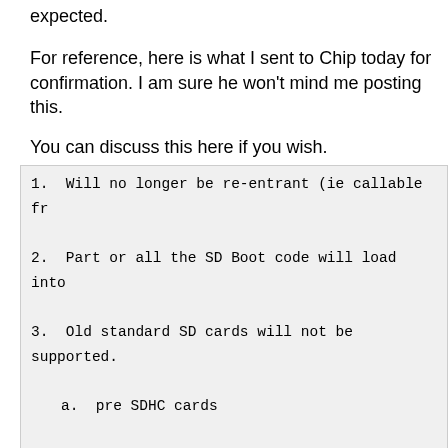expected.
For reference, here is what I sent to Chip today for confirmation. I am sure he won't mind me posting this.
You can discuss this here if you wish.
1. Will no longer be re-entrant (ie callable fr...
2. Part or all the SD Boot code will load into ...
3. Old standard SD cards will not be supported.
a. pre SDHC cards
b. cards using byte addressing for sectors
4. Cards not formatted in FAT32 (eg FAT16, exFA...
5. Cards that cannot validly boot will return t...
There has been discussion about clock frequency...
As far as I can tell, most/all are in agreement to remove support for older SD cards (prior to SDHC and those SD &